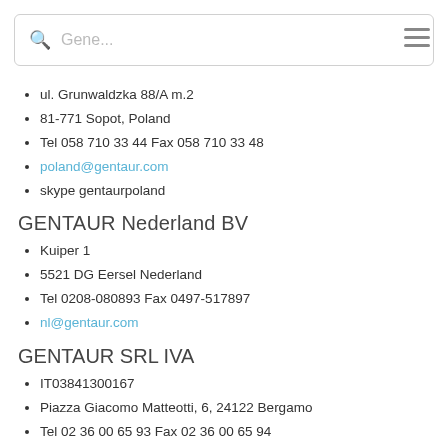[Figure (screenshot): Search bar with magnifying glass icon and placeholder text 'Gene...' and hamburger menu icon]
ul. Grunwaldzka 88/A m.2
81-771 Sopot, Poland
Tel 058 710 33 44 Fax 058 710 33 48
poland@gentaur.com
skype gentaurpoland
GENTAUR Nederland BV
Kuiper 1
5521 DG Eersel Nederland
Tel 0208-080893 Fax 0497-517897
nl@gentaur.com
GENTAUR SRL IVA
IT03841300167
Piazza Giacomo Matteotti, 6, 24122 Bergamo
Tel 02 36 00 65 93 Fax 02 36 00 65 94
italia@gentaur.com
Gentaur Spain